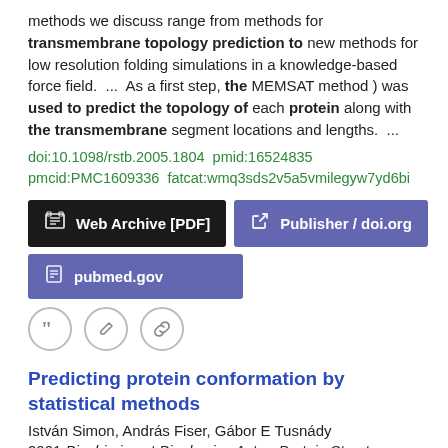methods we discuss range from methods for transmembrane topology prediction to new methods for low resolution folding simulations in a knowledge-based force field.  ...  As a first step, the MEMSAT method ) was used to predict the topology of each protein along with the transmembrane segment locations and lengths.  ...
doi:10.1098/rstb.2005.1804  pmid:16524835  pmcid:PMC1609336  fatcat:wmq3sds2v5a5vmilegyw7yd6bi
[Figure (other): Three buttons: Web Archive [PDF] (dark/black), Publisher / doi.org (purple), pubmed.gov (purple)]
[Figure (other): Three icon circles: quote, edit, link]
Predicting protein conformation by statistical methods
István Simon, András Fiser, Gábor E Tusnády
2001 Biochimica et Biophysica Acta - Protein Structure and Molecular Enzymology
Besides this goal, the development of accurate prediction methods helps to reveal principles of protein folding.  ...  The unique folded structure makes a polypeptide a functional protein.  ...